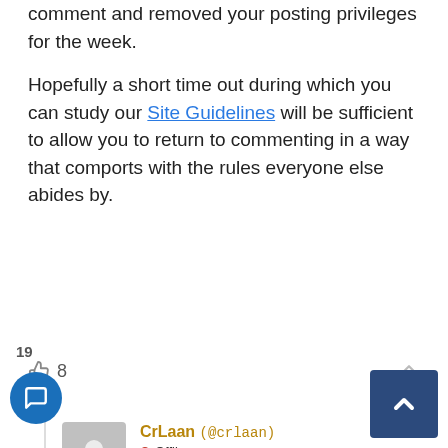comment and removed your posting privileges for the week.
Hopefully a short time out during which you can study our Site Guidelines will be sufficient to allow you to return to commenting in a way that comports with the rules everyone else abides by.
👍 8
CrLaan (@crlaan) • Offline Peak Insider Reply to Adam Taggart #82194 🕐 1 year ago
because btc is just energy on a thin wire? Someday 'they' cut the cord. #incandescent lightbulb
👍 0
19